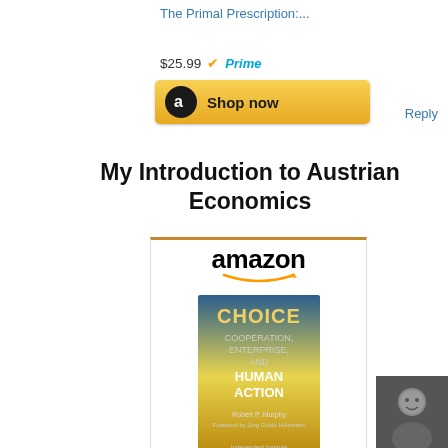The Primal Prescription:...
$25.99 Prime
[Figure (other): Amazon Shop now button]
Reply
My Introduction to Austrian Economics
[Figure (other): Amazon widget with book cover for 'Choice: Cooperation, Enterprise, and Human Action' by Robert P. Murphy]
Choice: Cooperation,...
$24.95 Prime
[Figure (other): Amazon Shop now button]
[Figure (photo): Small avatar photo of a person]